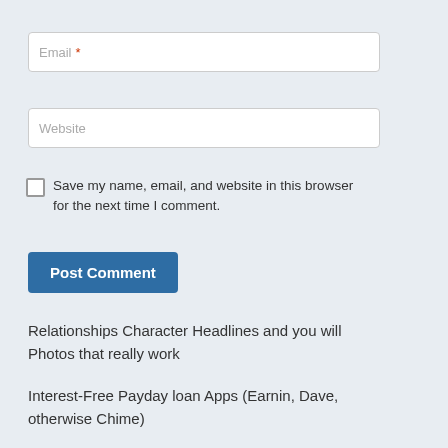[Figure (screenshot): Email input field with placeholder text 'Email' and red asterisk required marker]
[Figure (screenshot): Website input field with placeholder text 'Website']
Save my name, email, and website in this browser for the next time I comment.
[Figure (screenshot): Post Comment button in blue]
Relationships Character Headlines and you will Photos that really work
Interest-Free Payday loan Apps (Earnin, Dave, otherwise Chime)